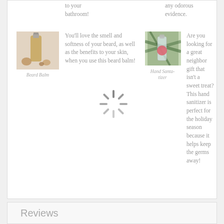to your bathroom!
any odorous evidence.
[Figure (photo): Beard balm product photo showing a small bottle of oil and some nuts/seeds on a white background]
Beard Balm
You'll love the smell and softness of your beard, as well as the benefits to your skin, when you use this beard balm!
[Figure (photo): Hand sanitizer spray bottle in front of green pine branches with a red/pink circular label]
Hand Santa-tizer
Are you looking for a great neighbor gift that isn't a sweet treat? This hand sanitizer is perfect for the holiday season because it helps keep the germs away!
[Figure (other): Loading spinner icon (rotating spokes in gray)]
Reviews